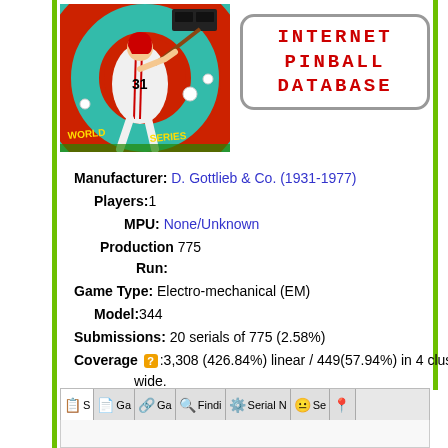[Figure (illustration): World Series pinball machine artwork showing a baseball player wearing #31 with red spiral background]
INTERNET PINBALL DATABASE
Manufacturer: D. Gottlieb & Co. (1931-1977)
Players: 1
MPU: None/Unknown
Production Run: 775
Game Type: Electro-mechanical (EM)
Model: 344
Submissions: 20 serials of 775 (2.58%)
Coverage ?: 3,308 (426.84%) linear / 449(57.94%) in 4 clusters 77 wide.